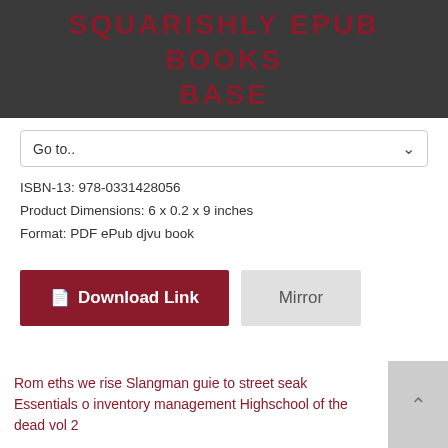SQUARISHLY EPUB BOOKS BASE
Go to..
ISBN-13: 978-0331428056
Product Dimensions: 6 x 0.2 x 9 inches
Format: PDF ePub djvu book
[Figure (screenshot): Download Link button (dark red) and Mirror button (light gray)]
Rom eths we rise Slangman guie to street seak Essentials o inventory management Highschool of the dead vol 2